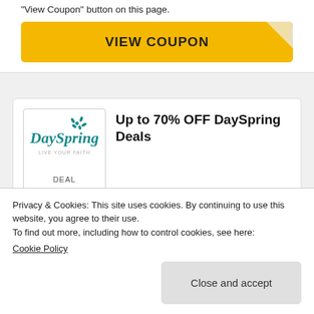"View Coupon" button on this page.
[Figure (other): Yellow 'VIEW COUPON' button with torn coupon corner effect on top right]
[Figure (logo): DaySpring logo — teal script lettering with decorative flower/splash, tagline 'Live Your Faith']
Up to 70% OFF DaySpring Deals
DEAL
Get deals for DaySpring. You are at the review page of DaySpring. You'll be redirected to the official dayspring.com
Privacy & Cookies: This site uses cookies. By continuing to use this website, you agree to their use.
To find out more, including how to control cookies, see here:
Cookie Policy
Close and accept